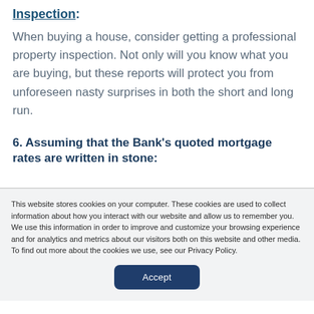Inspection:
When buying a house, consider getting a professional property inspection. Not only will you know what you are buying, but these reports will protect you from unforeseen nasty surprises in both the short and long run.
6. Assuming that the Bank's quoted mortgage rates are written in stone:
This website stores cookies on your computer. These cookies are used to collect information about how you interact with our website and allow us to remember you. We use this information in order to improve and customize your browsing experience and for analytics and metrics about our visitors both on this website and other media. To find out more about the cookies we use, see our Privacy Policy.